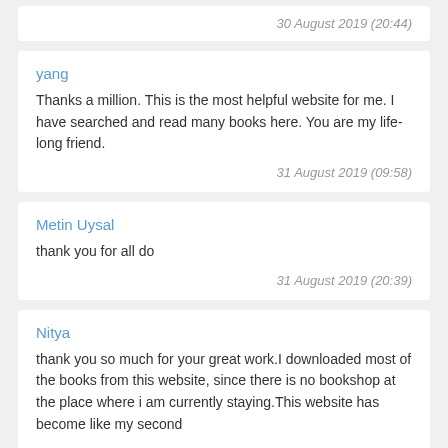30 August 2019 (20:44)
yang
Thanks a million. This is the most helpful website for me. I have searched and read many books here. You are my life-long friend.
31 August 2019 (09:58)
Metin Uysal
thank you for all do
31 August 2019 (20:39)
Nitya
thank you so much for your great work.I downloaded most of the books from this website, since there is no bookshop at the place where i am currently staying.This website has become like my second